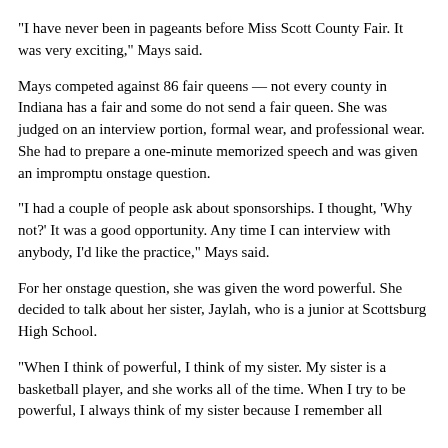“I have never been in pageants before Miss Scott County Fair. It was very exciting,” Mays said.
Mays competed against 86 fair queens — not every county in Indiana has a fair and some do not send a fair queen. She was judged on an interview portion, formal wear, and professional wear. She had to prepare a one-minute memorized speech and was given an impromptu onstage question.
“I had a couple of people ask about sponsorships. I thought, ‘Why not?’ It was a good opportunity. Any time I can interview with anybody, I’d like the practice,” Mays said.
For her onstage question, she was given the word powerful. She decided to talk about her sister, Jaylah, who is a junior at Scottsburg High School.
“When I think of powerful, I think of my sister. My sister is a basketball player, and she works all of the time. When I try to be powerful, I always think of my sister because I remember all